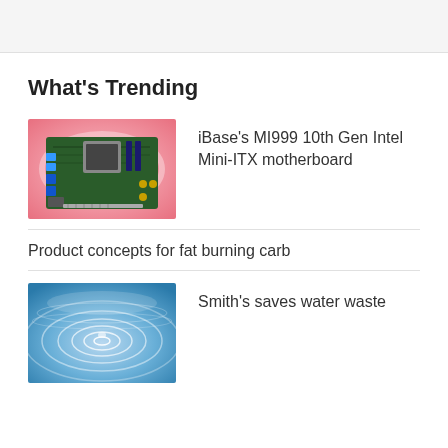What's Trending
[Figure (photo): iBase MI999 Mini-ITX motherboard on pink swirl background]
iBase's MI999 10th Gen Intel Mini-ITX motherboard
Product concepts for fat burning carb
[Figure (photo): Water ripples/waves on blue background]
Smith's saves water waste